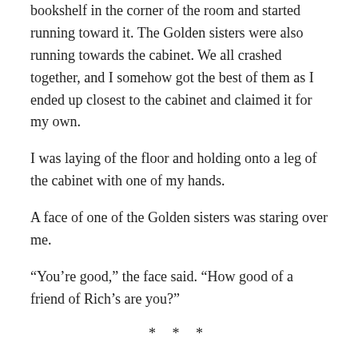bookshelf in the corner of the room and started running toward it. The Golden sisters were also running towards the cabinet. We all crashed together, and I somehow got the best of them as I ended up closest to the cabinet and claimed it for my own.
I was laying of the floor and holding onto a leg of the cabinet with one of my hands.
A face of one of the Golden sisters was staring over me.
“You’re good,” the face said. “How good of a friend of Rich’s are you?”
* * *
So goes the story of the acquisition of the cabinet as part of Rich’s collection for his place. He had it as his place in Powell, Ohio on the northern part of Columbus. Perhaps the most